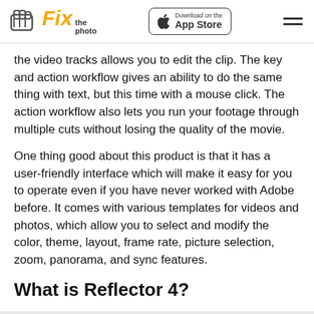Fix the photo | Download on the App Store
the video tracks allows you to edit the clip. The key and action workflow gives an ability to do the same thing with text, but this time with a mouse click. The action workflow also lets you run your footage through multiple cuts without losing the quality of the movie.
One thing good about this product is that it has a user-friendly interface which will make it easy for you to operate even if you have never worked with Adobe before. It comes with various templates for videos and photos, which allow you to select and modify the color, theme, layout, frame rate, picture selection, zoom, panorama, and sync features.
What is Reflector 4?